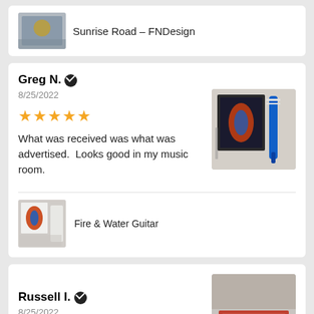[Figure (photo): Partial top review card with product thumbnail and text 'Sunrise Road - FNDesign']
Sunrise Road - FNDesign
Greg N. ✓
8/25/2022
[Figure (photo): Photo of framed guitar art on wall with blue guitar hanging beside it]
★★★★★
What was received was what was advertised.  Looks good in my music room.
[Figure (photo): Product thumbnail of Fire & Water Guitar art print]
Fire & Water Guitar
Russell I. ✓
8/25/2022
[Figure (photo): Partial photo of artwork on wall, bottom of page]